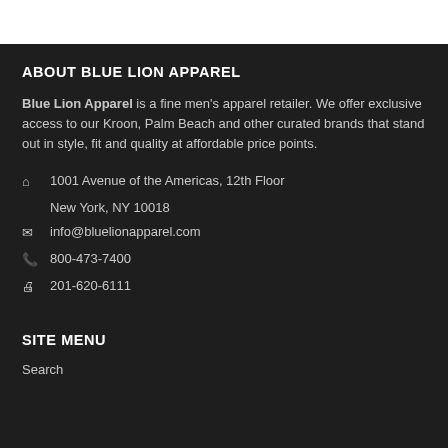ABOUT BLUE LION APPAREL
Blue Lion Apparel is a fine men's apparel retailer. We offer exclusive access to our Kroon, Palm Beach and other curated brands that stand out in style, fit and quality at affordable price points.
🏠 1001 Avenue of the Americas, 12th Floor
New York, NY 10018
✉ info@bluelionapparel.com
📞 800-473-7400
🖨 201-620-6111
SITE MENU
Search